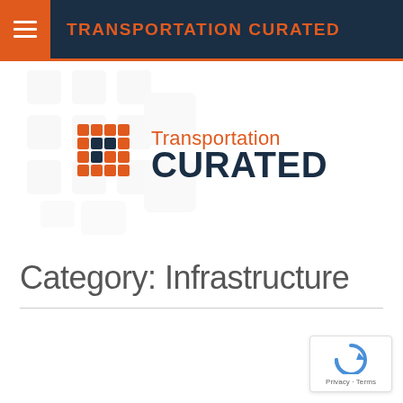TRANSPORTATION CURATED
[Figure (logo): Transportation Curated logo with orange grid/dot icon, 'Transportation' in orange and 'CURATED' in dark navy blue bold text, with faint large logo watermark in background]
Category: Infrastructure